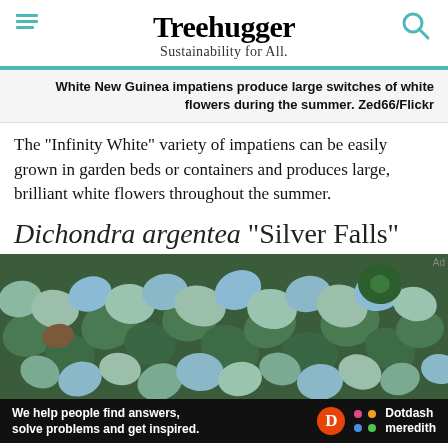Treehugger — Sustainability for All.
White New Guinea impatiens produce large switches of white flowers during the summer. Zed66/Flickr
The "Infinity White" variety of impatiens can be easily grown in garden beds or containers and produces large, brilliant white flowers throughout the summer.
Dichondra argentea "Silver Falls"
[Figure (photo): Close-up photo of Dichondra argentea Silver Falls plant showing silvery-green rounded leaves densely packed together]
We help people find answers, solve problems and get inspired. Dotdash meredith